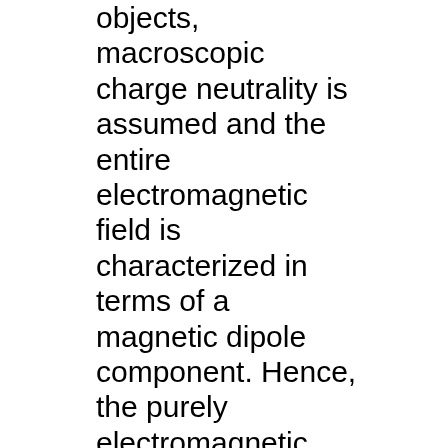objects, macroscopic charge neutrality is assumed and the entire electromagnetic field is characterized in terms of a magnetic dipole component. Hence, the purely electromagnetic contribution to the frame dragging vanishes. However, strange stars may posses independent electric dipole and